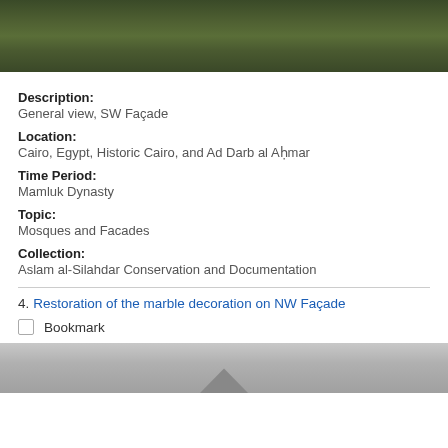[Figure (photo): Top portion of a photo showing dense green foliage/trees, SW Facade view]
Description:
General view, SW Façade
Location:
Cairo, Egypt, Historic Cairo, and Ad Darb al Aḥmar
Time Period:
Mamluk Dynasty
Topic:
Mosques and Facades
Collection:
Aslam al-Silahdar Conservation and Documentation
4. Restoration of the marble decoration on NW Façade
Bookmark
[Figure (photo): Bottom portion of a photo showing marble/stone architectural detail]